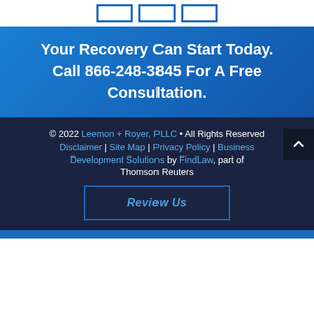[Figure (other): Three outlined blue rectangles/boxes at the top of the page on white background]
Your Recovery Can Start Today. Call 866-248-3845 For A Free Consultation.
© 2022 Leemon + Royer, PLLC • All Rights Reserved Disclaimer | Site Map | Privacy Policy | Business Development Solutions by FindLaw, part of Thomson Reuters
Review Us